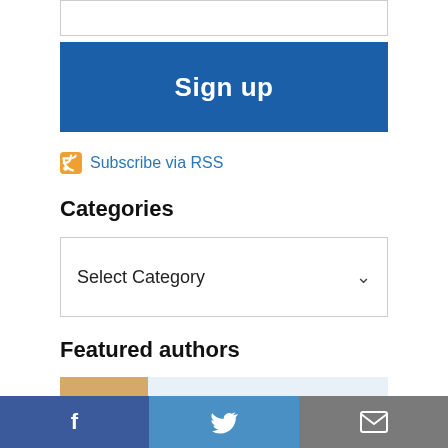[Figure (screenshot): Input text box (empty) with border]
Sign up
Subscribe via RSS
Categories
Select Category
Featured authors
Elena Craft
Health Scientist
f  [Twitter bird]  [Mail envelope]